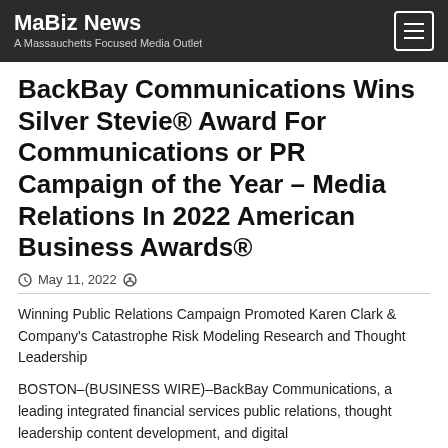MaBiz News — A Massauchetts Focused Media Outlet
BackBay Communications Wins Silver Stevie® Award For Communications or PR Campaign of the Year – Media Relations In 2022 American Business Awards®
May 11, 2022
Winning Public Relations Campaign Promoted Karen Clark & Company's Catastrophe Risk Modeling Research and Thought Leadership
BOSTON–(BUSINESS WIRE)–BackBay Communications, a leading integrated financial services public relations, thought leadership content development, and digital